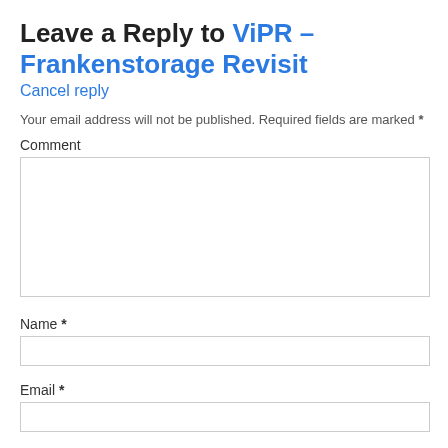Leave a Reply to ViPR – Frankenstorage Revisit
Cancel reply
Your email address will not be published. Required fields are marked *
Comment
Name *
Email *
Website
Post Comment
Notify me of follow-up comments by email.